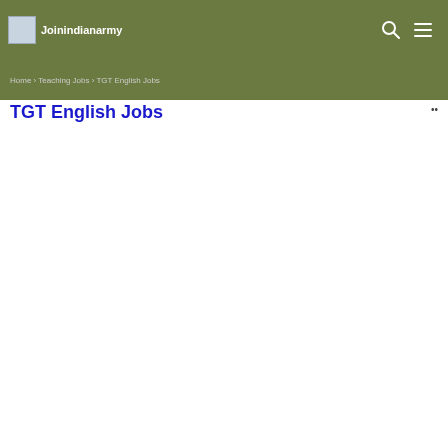Joinindianarmy
TGT English Jobs